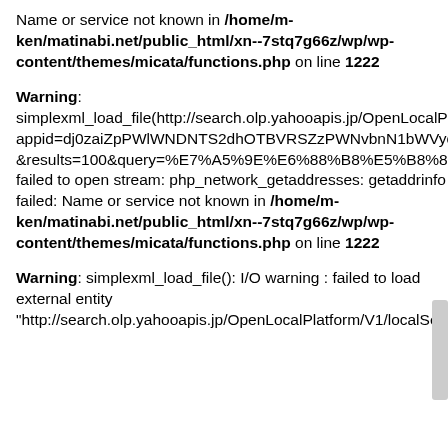Name or service not known in /home/m-ken/matinabi.net/public_html/xn--7stq7g66z/wp/wp-content/themes/micata/functions.php on line 1222
Warning: simplexml_load_file(http://search.olp.yahooapis.jp/OpenLocalPlatform/V1/localSearch?appid=dj0zaiZpPWlWNDNTS2dhOTBVRSZzPWNvbnN1bWVyc2VjcmV0Jng9OGU-&results=100&query=%E7%A5%9E%E6%88%B8%E5%B8%82%E9%A0%88%E7%A3%A8%E5%8C%BA&gc=0123002): failed to open stream: php_network_getaddresses: getaddrinfo failed: Name or service not known in /home/m-ken/matinabi.net/public_html/xn--7stq7g66z/wp/wp-content/themes/micata/functions.php on line 1222
Warning: simplexml_load_file(): I/O warning : failed to load external entity "http://search.olp.yahooapis.jp/OpenLocalPlatform/V1/localSearch?...